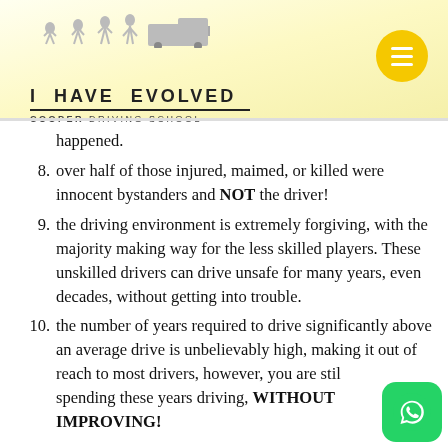[Figure (logo): I Have Evolved Cooper Driving School logo with evolution silhouette imagery]
happened.
8. over half of those injured, maimed, or killed were innocent bystanders and NOT the driver!
9. the driving environment is extremely forgiving, with the majority making way for the less skilled players. These unskilled drivers can drive unsafe for many years, even decades, without getting into trouble.
10. the number of years required to drive significantly above an average drive is unbelievably high, making it out of reach to most drivers, however, you are still spending these years driving, WITHOUT IMPROVING!